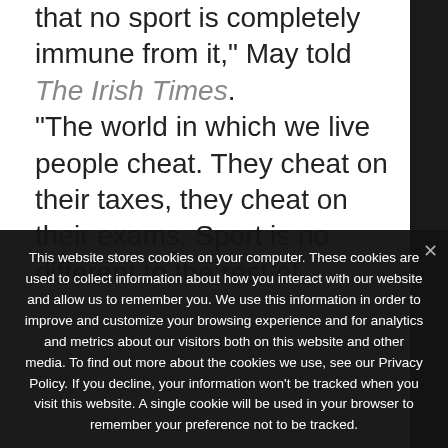that no sport is completely immune from it," May told The Irish Times.
“The world in which we live people cheat. They cheat on their taxes, they cheat on their exams. Sport is no different to the rest of
This website stores cookies on your computer. These cookies are used to collect information about how you interact with our website and allow us to remember you. We use this information in order to improve and customize your browsing experience and for analytics and metrics about our visitors both on this website and other media. To find out more about the cookies we use, see our Privacy Policy. If you decline, your information won’t be tracked when you visit this website. A single cookie will be used in your browser to remember your preference not to be tracked.
Ok   Privacy policy